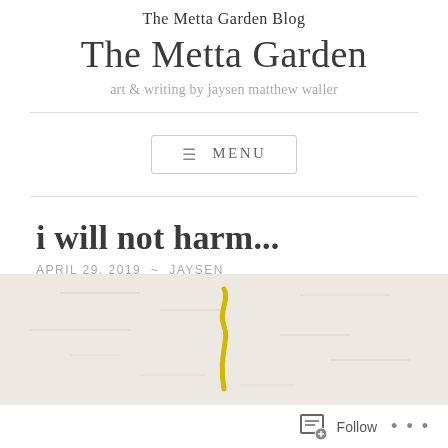The Metta Garden Blog
The Metta Garden
art & writing by jaysen matthew waller
≡ MENU
i will not harm...
APRIL 29, 2019  ~  JAYSEN
[Figure (illustration): Partial image of a hand-drawn or painted illustration with a yellow worm/squiggle shape on a textured beige/off-white background]
Follow  ...